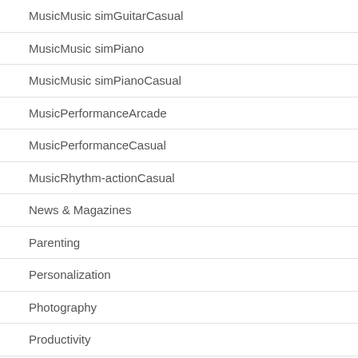MusicMusic simGuitarCasual
MusicMusic simPiano
MusicMusic simPianoCasual
MusicPerformanceArcade
MusicPerformanceCasual
MusicRhythm-actionCasual
News & Magazines
Parenting
Personalization
Photography
Productivity
Puzzle
Puzzle